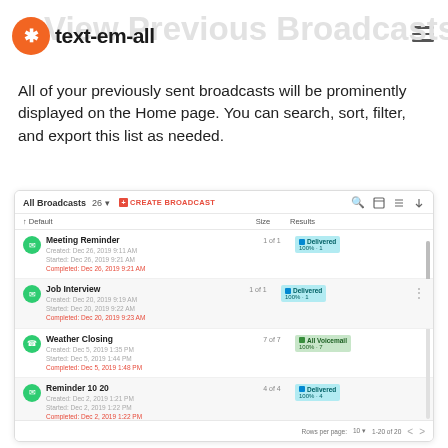View Previous Broadcasts
All of your previously sent broadcasts will be prominently displayed on the Home page. You can search, sort, filter, and export this list as needed.
[Figure (screenshot): Screenshot of text-em-all app showing All Broadcasts list with rows: Meeting Reminder (1 of 1, Delivered 100%·1), Job Interview (1 of 1, Delivered 100%·1), Weather Closing (7 of 7, All Voicemail 100%·7), Reminder 10 20 (4 of 4, Delivered 100%·4), Meeting Tuesday (5 of 5, All Voicemail 67%·3 + Live Answer 33%·1). Footer shows rows per page 10 and 1-20 of 20.]